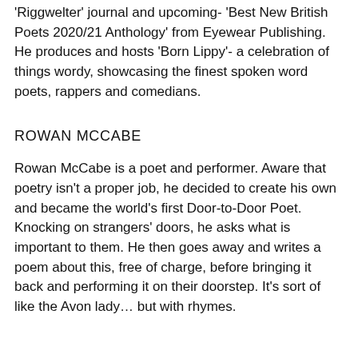'Riggwelter' journal and upcoming- 'Best New British Poets 2020/21 Anthology' from Eyewear Publishing. He produces and hosts 'Born Lippy'- a celebration of things wordy, showcasing the finest spoken word poets, rappers and comedians.
ROWAN MCCABE
Rowan McCabe is a poet and performer. Aware that poetry isn't a proper job, he decided to create his own and became the world's first Door-to-Door Poet. Knocking on strangers' doors, he asks what is important to them. He then goes away and writes a poem about this, free of charge, before bringing it back and performing it on their doorstep. It's sort of like the Avon lady… but with rhymes.